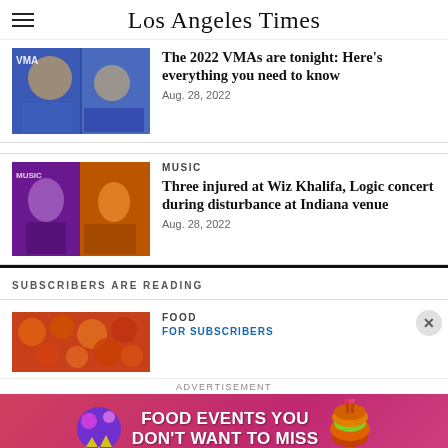Los Angeles Times
The 2022 VMAs are tonight: Here's everything you need to know
Aug. 28, 2022
MUSIC
Three injured at Wiz Khalifa, Logic concert during disturbance at Indiana venue
Aug. 28, 2022
SUBSCRIBERS ARE READING
FOOD
FOR SUBSCRIBERS
ADVERTISEMENT
[Figure (infographic): Advertisement banner: FOOD EVENTS YOU DON'T WANT TO MISS with illustrated burger and decorative ball icon]